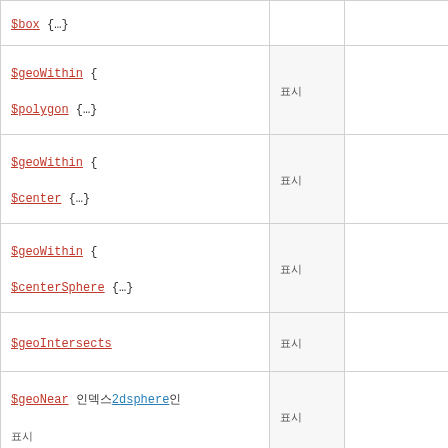| $box {…} | 표시 |  |
| $geoWithin {$polygon {…} | 표시 |  |
| $geoWithin {$center {…} | 표시 |  |
| $geoWithin {$centerSphere {…} | 표시 |  |
| $geoIntersects | 표시 |  |
| $geoNear 인덱스2dsphere인 표시 | 표시 |  |
| $geoNear 인덱스인덱스인덱스 | 표시 |  |